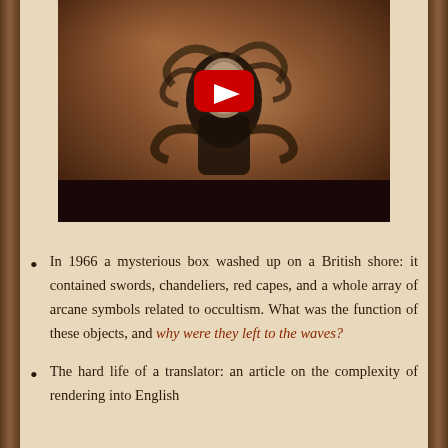[Figure (screenshot): YouTube video thumbnail showing a dark figure with snakes, with a red YouTube play button overlay. Brown/earth-toned background.]
In 1966 a mysterious box washed up on a British shore: it contained swords, chandeliers, red capes, and a whole array of arcane symbols related to occultism. What was the function of these objects, and why were they left to the waves?
The hard life of a translator: an article on the complexity of rendering into English